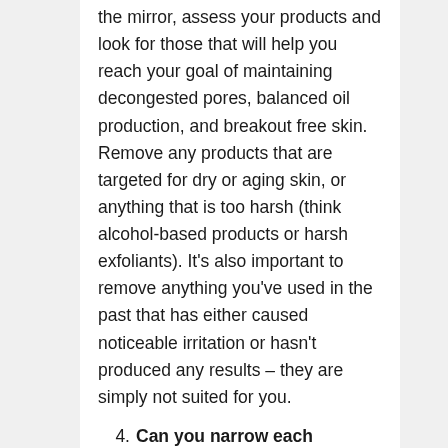the mirror, assess your products and look for those that will help you reach your goal of maintaining decongested pores, balanced oil production, and breakout free skin. Remove any products that are targeted for dry or aging skin, or anything that is too harsh (think alcohol-based products or harsh exfoliants). It's also important to remove anything you've used in the past that has either caused noticeable irritation or hasn't produced any results – they are simply not suited for you.
4. Can you narrow each category down to one product? As a general guideline